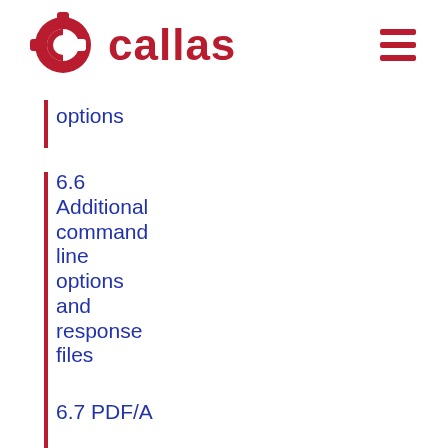[Figure (logo): Callas software logo: red circular gear/letter C icon with the word 'callas' in bold dark red text]
options
6.6 Additional command line options and response files
6.7 PDF/A